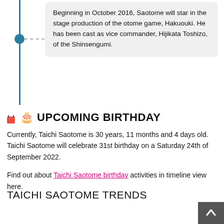Beginning in October 2016, Saotome will star in the stage production of the otome game, Hakuouki. He has been cast as vice commander, Hijikata Toshizo, of the Shinsengumi.
UPCOMING BIRTHDAY
Currently, Taichi Saotome is 30 years, 11 months and 4 days old. Taichi Saotome will celebrate 31st birthday on a Saturday 24th of September 2022.
Find out about Taichi Saotome birthday activities in timeline view here.
TAICHI SAOTOME TRENDS